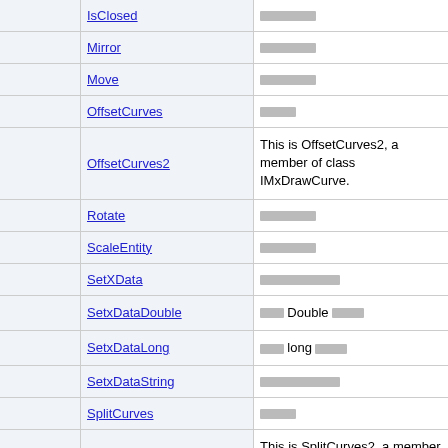|  | Member | Description |
| --- | --- | --- |
|  | IsClosed | ██████ |
|  | Mirror | ██████ |
|  | Move | ██████ |
|  | OffsetCurves | ████ |
|  | OffsetCurves2 | This is OffsetCurves2, a member of class IMxDrawCurve. |
|  | Rotate | ██████ |
|  | ScaleEntity | ██████ |
|  | SetXData | ██████████ |
|  | SetxDataDouble | ███Double████ |
|  | SetxDataLong | ███long████ |
|  | SetxDataString | ██████████ |
|  | SplitCurves | ████ |
|  | SplitCurves2 | This is SplitCurves2, a member of class IMxDrawCurve. |
|  | TransformBy | ████████ |